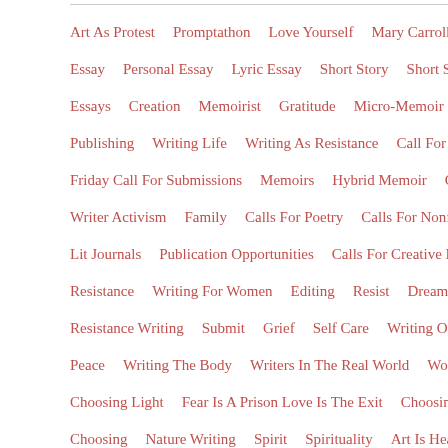Art As Protest   Promptathon   Love Yourself   Mary Carroll-H...
Essay   Personal Essay   Lyric Essay   Short Story   Short St...
Essays   Creation   Memoirist   Gratitude   Micro-Memoir
Publishing   Writing Life   Writing As Resistance   Call For S...
Friday Call For Submissions   Memoirs   Hybrid Memoir   Cr...
Writer Activism   Family   Calls For Poetry   Calls For Nonfic...
Lit Journals   Publication Opportunities   Calls For Creative No...
Resistance   Writing For Women   Editing   Resist   Dream
Resistance Writing   Submit   Grief   Self Care   Writing Op...
Peace   Writing The Body   Writers In The Real World   Wom...
Choosing Light   Fear Is A Prison Love Is The Exit   Choosing L...
Choosing   Nature Writing   Spirit   Spirituality   Art Is Hea...
Love Letters   Writing Nature   Music Is Memory   Spiritual A...